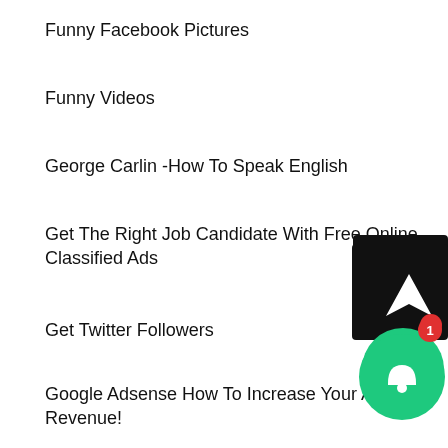Funny Facebook Pictures
Funny Videos
George Carlin -How To Speak English
Get The Right Job Candidate With Free Online Classified Ads
Get Twitter Followers
Google Adsense How To Increase Your Adsense Revenue!
Google Mass Control Don't Complain About You Tube Videos Getting Deleted..
Grilling The Experts Daniel Wagner Interview By Sotiris Bassakaropoulos